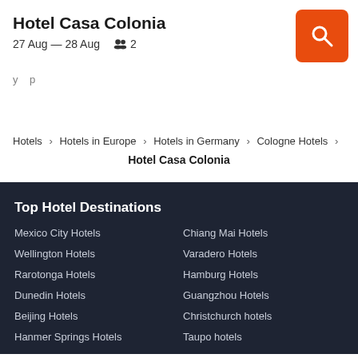Hotel Casa Colonia
27 Aug — 28 Aug   2
Hotels > Hotels in Europe > Hotels in Germany > Cologne Hotels > Hotel Casa Colonia
Top Hotel Destinations
Mexico City Hotels
Chiang Mai Hotels
Wellington Hotels
Varadero Hotels
Rarotonga Hotels
Hamburg Hotels
Dunedin Hotels
Guangzhou Hotels
Beijing Hotels
Christchurch hotels
Hanmer Springs Hotels
Taupo hotels